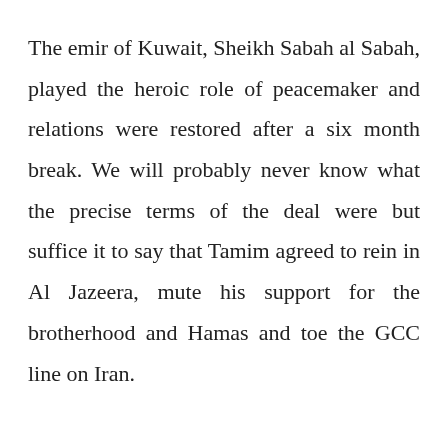The emir of Kuwait, Sheikh Sabah al Sabah, played the heroic role of peacemaker and relations were restored after a six month break. We will probably never know what the precise terms of the deal were but suffice it to say that Tamim agreed to rein in Al Jazeera, mute his support for the brotherhood and Hamas and toe the GCC line on Iran.

Three years on, and increasingly angry with